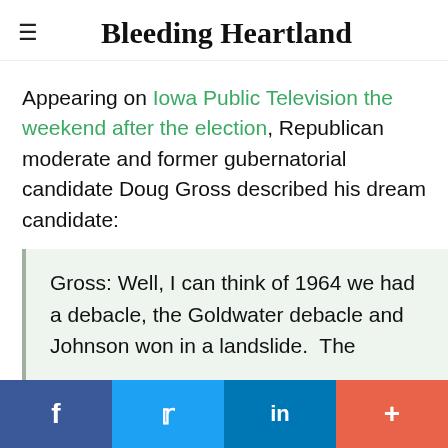Bleeding Heartland
Appearing on Iowa Public Television the weekend after the election, Republican moderate and former gubernatorial candidate Doug Gross described his dream candidate:
Gross: Well, I can think of 1964 we had a debacle, the Goldwater debacle and Johnson won in a landslide.  The